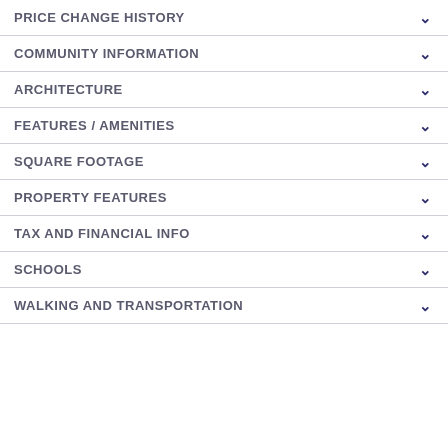PRICE CHANGE HISTORY
COMMUNITY INFORMATION
ARCHITECTURE
FEATURES / AMENITIES
SQUARE FOOTAGE
PROPERTY FEATURES
TAX AND FINANCIAL INFO
SCHOOLS
WALKING AND TRANSPORTATION